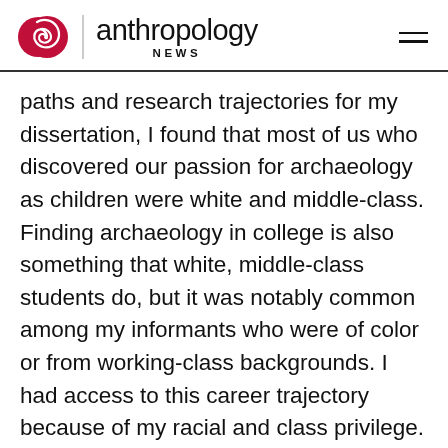anthropology NEWS
paths and research trajectories for my dissertation, I found that most of us who discovered our passion for archaeology as children were white and middle-class. Finding archaeology in college is also something that white, middle-class students do, but it was notably common among my informants who were of color or from working-class backgrounds. I had access to this career trajectory because of my racial and class privilege. Almost all of my interviewees told me stories of powerful mentoring relationships: these were especially important to people of color, women, queer people, and people from working-class or poor backgrounds.